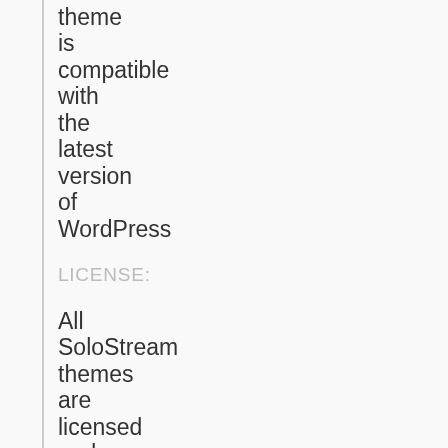theme is compatible with the latest version of WordPress
LICENSE:
All SoloStream themes are licensed under the General